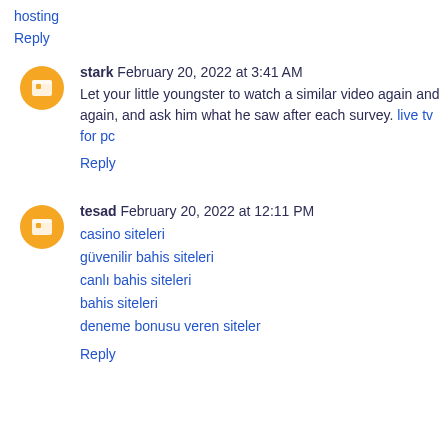hosting
Reply
stark February 20, 2022 at 3:41 AM
Let your little youngster to watch a similar video again and again, and ask him what he saw after each survey. live tv for pc
Reply
tesad February 20, 2022 at 12:11 PM
casino siteleri
guvenilir bahis siteleri
canli bahis siteleri
bahis siteleri
deneme bonusu veren siteler
Reply